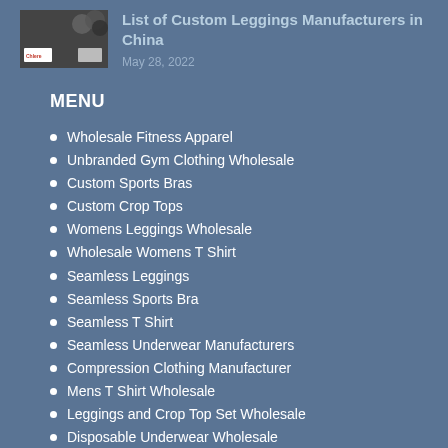[Figure (thumbnail): Small thumbnail image of a document about custom leggings manufacturers in China]
List of Custom Leggings Manufacturers in China
May 28, 2022
MENU
Wholesale Fitness Apparel
Unbranded Gym Clothing Wholesale
Custom Sports Bras
Custom Crop Tops
Womens Leggings Wholesale
Wholesale Womens T Shirt
Seamless Leggings
Seamless Sports Bra
Seamless T Shirt
Seamless Underwear Manufacturers
Compression Clothing Manufacturer
Mens T Shirt Wholesale
Leggings and Crop Top Set Wholesale
Disposable Underwear Wholesale